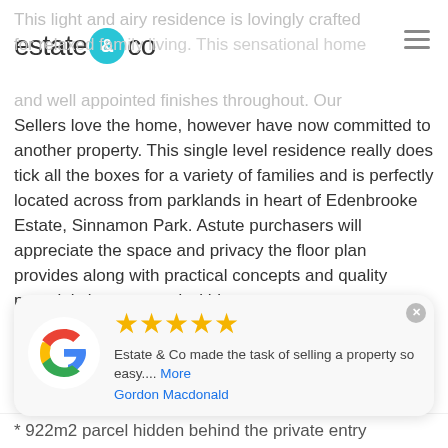estate & co
This light and airy residence is lovingly crafted for relaxed family living. This sensational home impresses with its stunning design and well appointed finishes throughout. Our Sellers love the home, however have now committed to another property. This single level residence really does tick all the boxes for a variety of families and is perfectly located across from parklands in heart of Edenbrooke Estate, Sinnamon Park. Astute purchasers will appreciate the space and privacy the floor plan provides along with practical concepts and quality materials incorporated within.
Soaring 2.7m ceilings welcome you at the entrance and extend throughout the home. Multiple living and dining areas blend seamlessly with the recently renovated kitchen , through to the covered north-facing alfresco
Estate & Co made the task of selling a property so easy.... More
Gordon Macdonald
* 922m2 parcel hidden behind the private entry